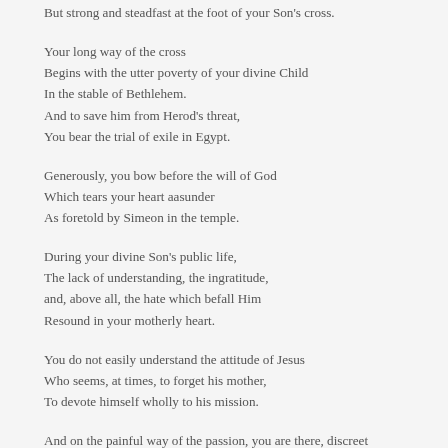But strong and steadfast at the foot of your Son's cross.
Your long way of the cross
Begins with the utter poverty of your divine Child
In the stable of Bethlehem.
And to save him from Herod's threat,
You bear the trial of exile in Egypt.
Generously, you bow before the will of God
Which tears your heart aasunder
As foretold by Simeon in the temple.
During your divine Son's public life,
The lack of understanding, the ingratitude,
and, above all, the hate which befall Him
Resound in your motherly heart.
You do not easily understand the attitude of Jesus
Who seems, at times, to forget his mother,
To devote himself wholly to his mission.
And on the painful way of the passion, you are there, discreet
In your solitude, with your feelings, your questions and your wounded heart.